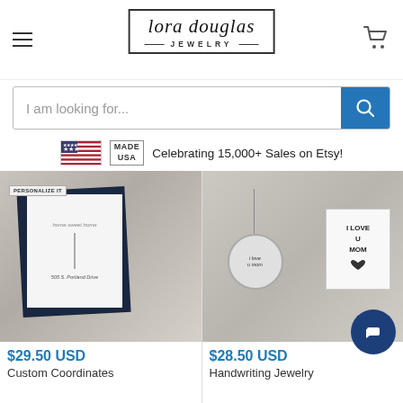lora douglas JEWELRY
I am looking for...
Celebrating 15,000+ Sales on Etsy!
[Figure (photo): Product photo of a custom coordinates necklace on a dark blue card with 'home sweet home' printed, address 505 S. Portland Drive, with 'Personalize It' tag]
$29.50 USD
Custom Coordinates
[Figure (photo): Product photo of a handwriting jewelry necklace with round pendant engraved with 'I love u Mom', next to a handwritten note card saying 'I LOVE U Mom' with a heart]
$28.50 USD
Handwriting Jewelry